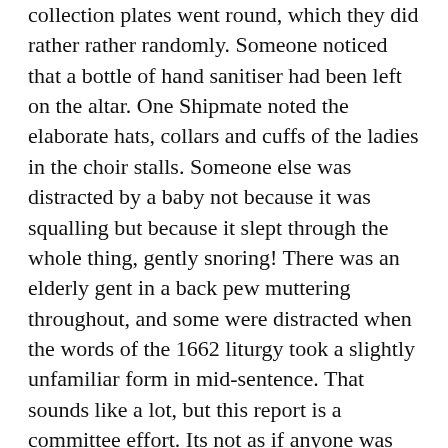collection plates went round, which they did rather rather randomly. Someone noticed that a bottle of hand sanitiser had been left on the altar. One Shipmate noted the elaborate hats, collars and cuffs of the ladies in the choir stalls. Someone else was distracted by a baby not because it was squalling but because it slept through the whole thing, gently snoring! There was an elderly gent in a back pew muttering throughout, and some were distracted when the words of the 1662 liturgy took a slightly unfamiliar form in mid-sentence. That sounds like a lot, but this report is a committee effort. Its not as if anyone was really distracted from the main business.
Was the worship stiff-upper-lip, happy clappy, or what?
Middle-of-the-road Anglican (one Shippie pointed